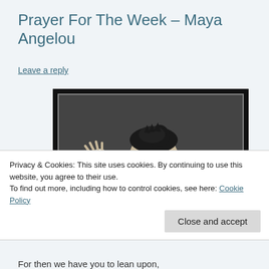Prayer For The Week – Maya Angelou
Leave a reply
[Figure (photo): Black and white photograph of Maya Angelou performing or speaking expressively, with arms outstretched and eyes closed, wearing dark clothing with a white top, against a dark background.]
Privacy & Cookies: This site uses cookies. By continuing to use this website, you agree to their use.
To find out more, including how to control cookies, see here: Cookie Policy
For then we have you to lean upon,